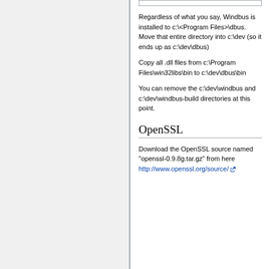Regardless of what you say, Windbus is installed to c:\<Program Files>\dbus. Move that entire directory into c:\dev (so it ends up as c:\dev\dbus)
Copy all .dll files from c:\Program Files\win32libs\bin to c:\dev\dbus\bin
You can remove the c:\dev\windbus and c:\dev\windbus-build directories at this point.
OpenSSL
Download the OpenSSL source named "openssl-0.9.8g.tar.gz" from here http://www.openssl.org/source/